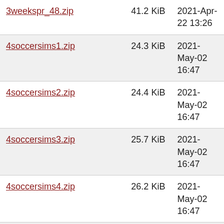| 3weekspr_48.zip | 41.2 KiB | 2021-Apr-22 13:26 |
| 4soccersims1.zip | 24.3 KiB | 2021-May-02 16:47 |
| 4soccersims2.zip | 24.4 KiB | 2021-May-02 16:47 |
| 4soccersims3.zip | 25.7 KiB | 2021-May-02 16:47 |
| 4soccersims4.zip | 26.2 KiB | 2021-May-02 16:47 |
| 5in1tetris.zip | 16.2 KiB | 2021-May-02 16:47 |
| 720deg.zip | 21.2 KiB | 2020-Jun-11 12:44 |
| 750cc.zip | 36.6 KiB | 2021-May-02 16:47 |
| 911ts.zip | 21.3 KiB | 2021-May-02 16:47 |
| aaargh.zip | 54.9 KiB | 2021-May-02 16:47 |
| aburner.zip | 40.6 KiB | 2021-May-02 16:47 |